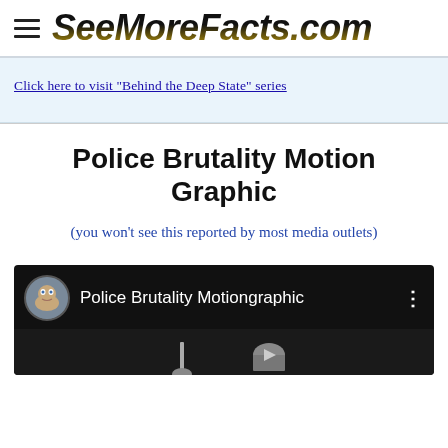SeeMoreFacts.com
Click here to visit "Behind the Deep State" series
Police Brutality Motion Graphic
(you won't see this reported by most media outlets)
[Figure (screenshot): YouTube video thumbnail showing 'Police Brutality Motiongraphic' with a cartoon avatar and video controls on dark background]